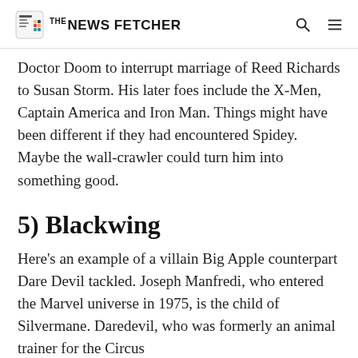THE NEWS FETCHER
Doctor Doom to interrupt marriage of Reed Richards to Susan Storm. His later foes include the X-Men, Captain America and Iron Man. Things might have been different if they had encountered Spidey. Maybe the wall-crawler could turn him into something good.
5) Blackwing
Here's an example of a villain Big Apple counterpart Dare Devil tackled. Joseph Manfredi, who entered the Marvel universe in 1975, is the child of Silvermane. Daredevil, who was formerly an animal trainer for the Circus